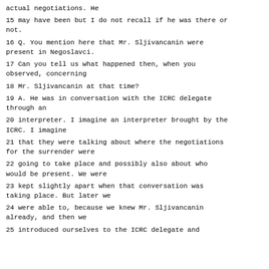actual negotiations. He
15 may have been but I do not recall if he was there or not.
16 Q. You mention here that Mr. Sljivancanin were present in Negoslavci.
17 Can you tell us what happened then, when you observed, concerning
18 Mr. Sljivancanin at that time?
19 A. He was in conversation with the ICRC delegate through an
20 interpreter. I imagine an interpreter brought by the ICRC. I imagine
21 that they were talking about where the negotiations for the surrender were
22 going to take place and possibly also about who would be present. We were
23 kept slightly apart when that conversation was taking place. But later we
24 were able to, because we knew Mr. Sljivancanin already, and then we
25 introduced ourselves to the ICRC delegate and